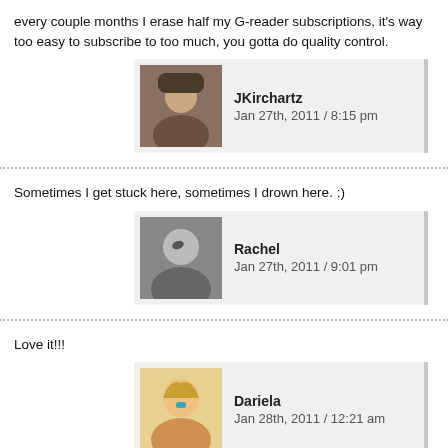every couple months I erase half my G-reader subscriptions, it's way too easy to subscribe to too much, you gotta do quality control.
JKirchartz
Jan 27th, 2011 / 8:15 pm
Sometimes I get stuck here, sometimes I drown here. :)
Rachel
Jan 27th, 2011 / 9:01 pm
Love it!!!
Dariela
Jan 28th, 2011 / 12:21 am
My productivity is lost in the I do not care ocean which is right below that triangle lol.